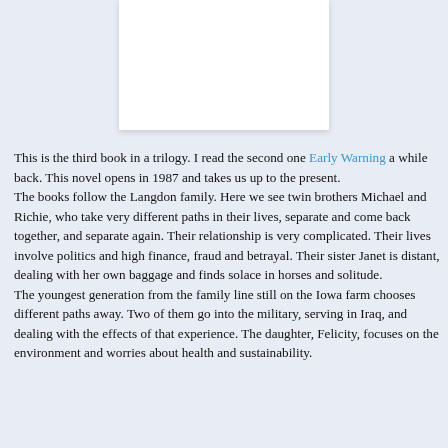[Figure (illustration): White rectangular book cover image on light blue background]
This is the third book in a trilogy. I read the second one Early Warning a while back. This novel opens in 1987 and takes us up to the present.
The books follow the Langdon family. Here we see twin brothers Michael and Richie, who take very different paths in their lives, separate and come back together, and separate again. Their relationship is very complicated. Their lives involve politics and high finance, fraud and betrayal. Their sister Janet is distant, dealing with her own baggage and finds solace in horses and solitude.
The youngest generation from the family line still on the Iowa farm chooses different paths away. Two of them go into the military, serving in Iraq, and dealing with the effects of that experience. The daughter, Felicity, focuses on the environment and worries about health and sustainability.